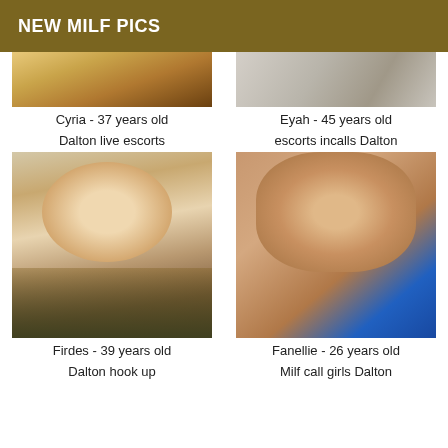NEW MILF PICS
Cyria - 37 years old
Eyah - 45 years old
Dalton live escorts
escorts incalls Dalton
[Figure (photo): Photo of Firdes]
[Figure (photo): Photo of Fanellie]
Firdes - 39 years old
Fanellie - 26 years old
Dalton hook up
Milf call girls Dalton